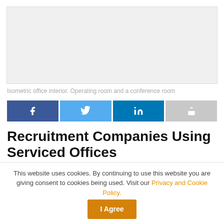[Figure (illustration): Light gray placeholder for isometric office interior illustration]
Isometric office interior. Operating room and a conference room
[Figure (infographic): Social share buttons: Facebook, Twitter, LinkedIn, Share]
Recruitment Companies Using Serviced Offices
This website uses cookies. By continuing to use this website you are giving consent to cookies being used. Visit our Privacy and Cookie Policy.